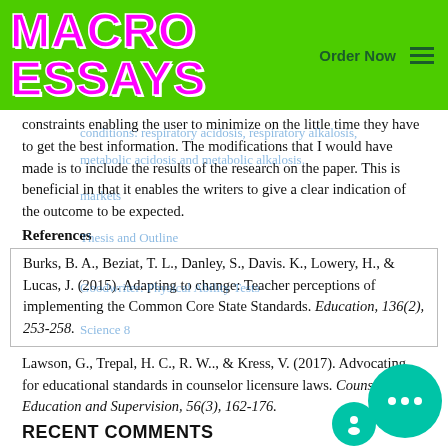MACRO ESSAYS | Order Now
constraints enabling the user to minimize on the little time they have to get the best information. The modifications that I would have made is to include the results of the research on the paper. This is beneficial in that it enables the writers to give a clear indication of the outcome to be expected.
References
Burks, B. A., Beziat, T. L., Danley, S., Davis. K., Lowery, H., & Lucas, J. (2015). Adapting to change: Teacher perceptions of implementing the Common Core State Standards. Education, 136(2), 253-258.
Lawson, G., Trepal, H. C., R. W.., & Kress, V. (2017). Advocating for educational standards in counselor licensure laws. Counselor Education and Supervision, 56(3), 162-176.
RECENT COMMENTS
Tarman, B. (2016). Innovation and education. Research in Social Sciences and Technology, 1(1).